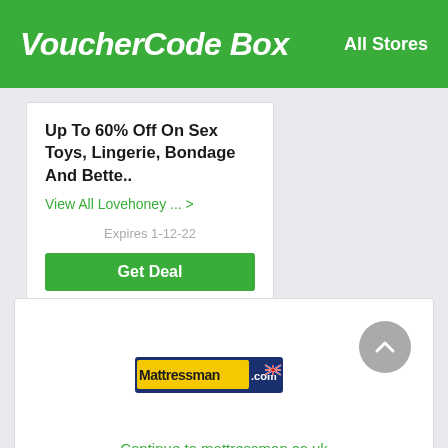VoucherCode Box   All Stores
Up To 60% Off On Sex Toys, Lingerie, Bondage And Bette..
View All Lovehoney ... >
Expires 1-12-22
Get Deal
[Figure (logo): Mattressman logo — yellow text on dark blue background with UK flag icon]
Continue to mattressman.co.uk